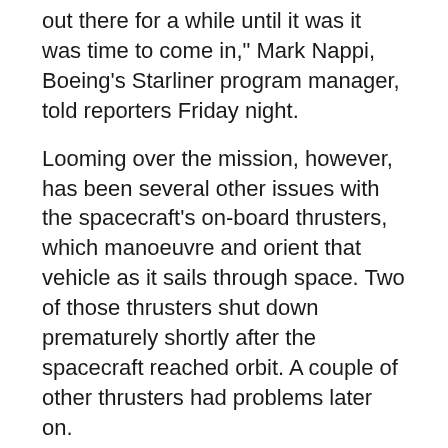out there for a while until it was it was time to come in," Mark Nappi, Boeing's Starliner program manager, told reporters Friday night.
Looming over the mission, however, has been several other issues with the spacecraft's on-board thrusters, which manoeuvre and orient that vehicle as it sails through space. Two of those thrusters shut down prematurely shortly after the spacecraft reached orbit. A couple of other thrusters had problems later on.
Despite the setbacks, the spacecraft was performing "beautifully," according to Steve Stich, the manager of NASA's Commercial Crew Program, which oversees Starliner as well as SpaceX's Crew Dragon program.